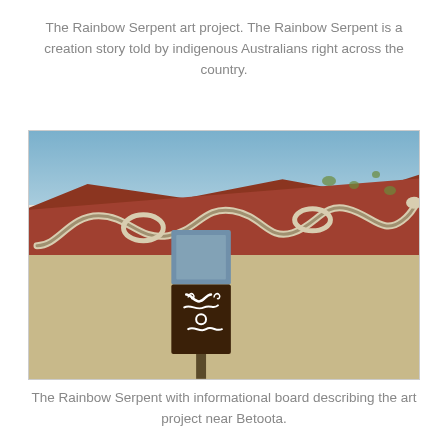The Rainbow Serpent art project. The Rainbow Serpent is a creation story told by indigenous Australians right across the country.
[Figure (photo): Photograph of the Rainbow Serpent land art on a red earth hillside near Betoota, showing a large serpent shape made of light-colored stones on the reddish hillside. In the foreground is a dark brown informational sign post with white serpent and indigenous motifs painted on it. The background shows blue sky and sparse vegetation.]
The Rainbow Serpent with informational board describing the art project near Betoota.